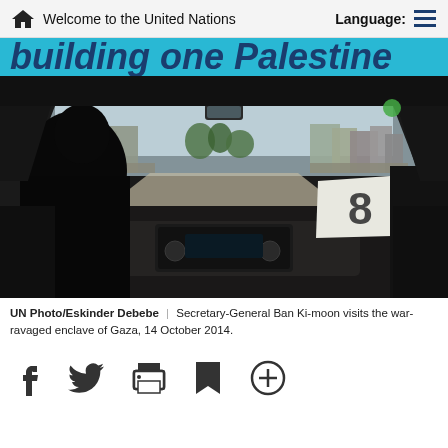Welcome to the United Nations | Language:
building one Palestine
[Figure (photo): View from inside a car windshield looking out at destroyed buildings in Gaza. A silhouette of a person (Secretary-General Ban Ki-moon) is visible in the foreground on the left. A paper with the number 8 is visible on the dashboard.]
UN Photo/Eskinder Debebe | Secretary-General Ban Ki-moon visits the war-ravaged enclave of Gaza, 14 October 2014.